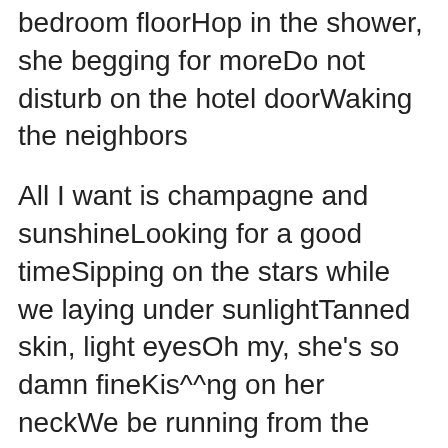bedroom floorHop in the shower, she begging for moreDo not disturb on the hotel doorWaking the neighbors
All I want is champagne and sunshineLooking for a good timeSipping on the stars while we laying under sunlightTanned skin, light eyesOh my, she’s so damn fineKis^^ng on her neckWe be running from the night time
She got… she got… she got… she got that rich girlShe got… she got… she got… she got that rich girl
All I want is champagne and sunshineLooking